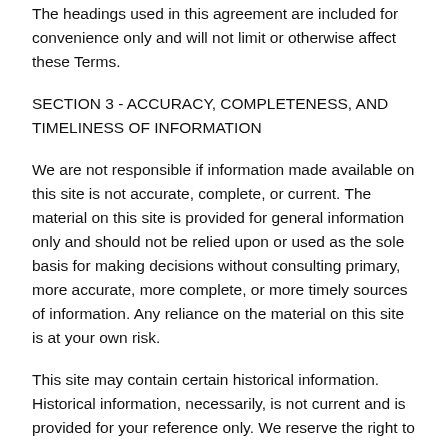The headings used in this agreement are included for convenience only and will not limit or otherwise affect these Terms.
SECTION 3 - ACCURACY, COMPLETENESS, AND TIMELINESS OF INFORMATION
We are not responsible if information made available on this site is not accurate, complete, or current. The material on this site is provided for general information only and should not be relied upon or used as the sole basis for making decisions without consulting primary, more accurate, more complete, or more timely sources of information. Any reliance on the material on this site is at your own risk.
This site may contain certain historical information. Historical information, necessarily, is not current and is provided for your reference only. We reserve the right to modify the contents of this site at any time, but we have